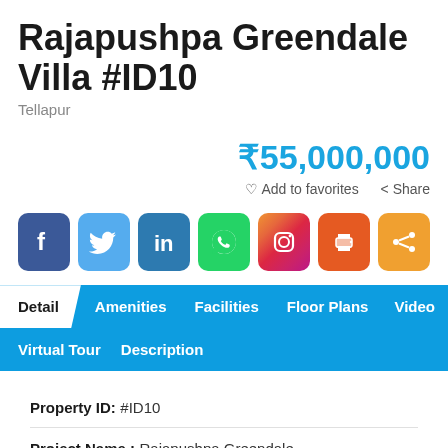Rajapushpa Greendale Villa #ID10
Tellapur
₹55,000,000
♡ Add to favorites  ⟨ Share
[Figure (infographic): Row of 7 social media and sharing icons: Facebook (blue), Twitter (light blue), LinkedIn (dark blue/teal), WhatsApp (green), Instagram (gradient pink/orange), Print (orange-red), Share (orange)]
Detail  Amenities  Facilities  Floor Plans  Video
Virtual Tour  Description
Property ID: #ID10
Project Name : Rajapushpa Greendale